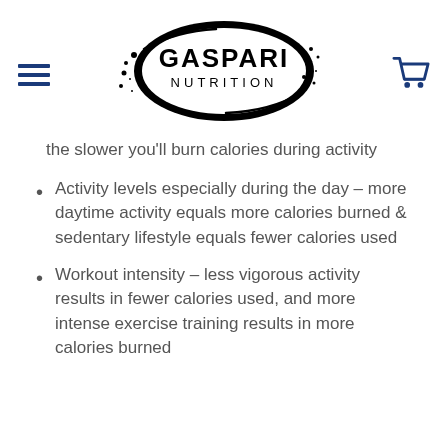[Figure (logo): Gaspari Nutrition logo - black oval with brand name]
the slower you'll burn calories during activity
Activity levels especially during the day – more daytime activity equals more calories burned & sedentary lifestyle equals fewer calories used
Workout intensity – less vigorous activity results in fewer calories used, and more intense exercise training results in more calories burned